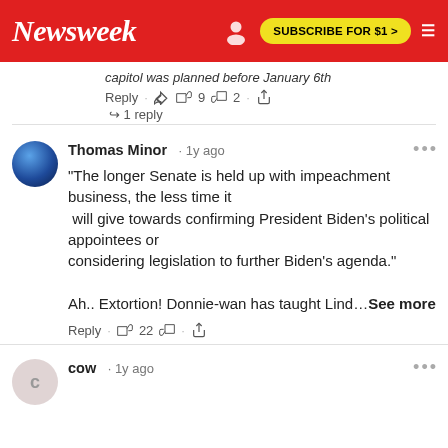Newsweek | SUBSCRIBE FOR $1 >
capitol was planned before January 6th
Reply · 👍 9 👎 2 · share
↪ 1 reply
Thomas Minor · 1y ago
"The longer Senate is held up with impeachment business, the less time it will give towards confirming President Biden's political appointees or considering legislation to further Biden's agenda."

Ah.. Extortion! Donnie-wan has taught Lind…See more
Reply · 👍 22 👎 · share
cow · 1y ago